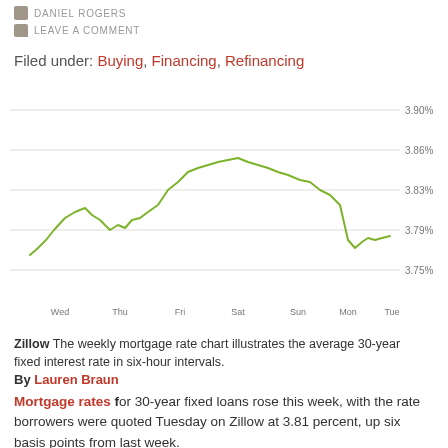DANIEL ROGERS
LEAVE A COMMENT
Filed under: Buying, Financing, Refinancing
[Figure (continuous-plot): Line chart showing 30-year fixed mortgage rate in six-hour intervals from Wednesday to Tuesday, ranging approximately 3.75% to 3.90%. The line starts around 3.77%, rises to about 3.84%, dips to ~3.80%, then climbs to a peak near 3.86% around Saturday-Sunday, then drops sharply to ~3.78% on Monday before recovering to ~3.81% on Tuesday. Y-axis labels: 3.90%, 3.86%, 3.83%, 3.79%, 3.75%. X-axis labels: Wed, Thu, Fri, Sat, Sun, Mon, Tue.]
Zillow The weekly mortgage rate chart illustrates the average 30-year fixed interest rate in six-hour intervals.
By Lauren Braun
Mortgage rates for 30-year fixed loans rose this week, with the rate borrowers were quoted Tuesday on Zillow at 3.81 percent, up six basis points from last week.